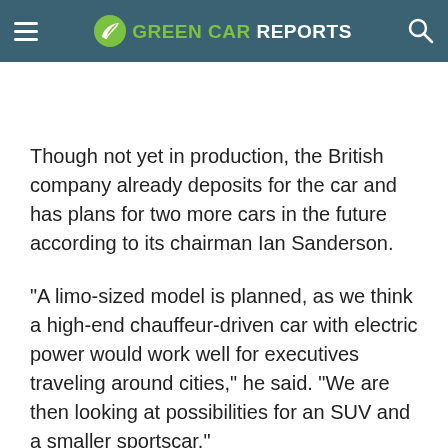GREEN CAR REPORTS
Though not yet in production, the British company already deposits for the car and has plans for two more cars in the future according to its chairman Ian Sanderson.
"A limo-sized model is planned, as we think a high-end chauffeur-driven car with electric power would work well for executives traveling around cities," he said. "We are then looking at possibilities for an SUV and a smaller sportscar."